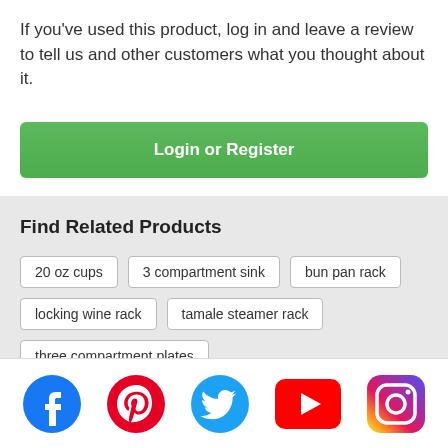If you've used this product, log in and leave a review to tell us and other customers what you thought about it.
[Figure (other): Green 'Login or Register' button]
Find Related Products
20 oz cups
3 compartment sink
bun pan rack
locking wine rack
tamale steamer rack
three compartment plates
[Figure (other): Social media icons: Facebook, Pinterest, Twitter, YouTube, Instagram]